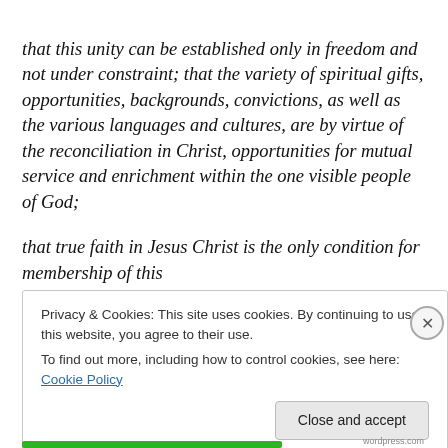that this unity can be established only in freedom and not under constraint; that the variety of spiritual gifts, opportunities, backgrounds, convictions, as well as the various languages and cultures, are by virtue of the reconciliation in Christ, opportunities for mutual service and enrichment within the one visible people of God;
that true faith in Jesus Christ is the only condition for membership of this church;
Privacy & Cookies: This site uses cookies. By continuing to use this website, you agree to their use.
To find out more, including how to control cookies, see here: Cookie Policy